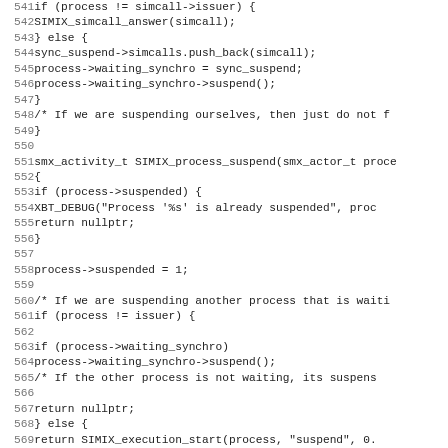[Figure (screenshot): Source code listing lines 541-573, C/C++ code for SIMIX process suspend and resume functions, monospace font on white background with line numbers in gray.]